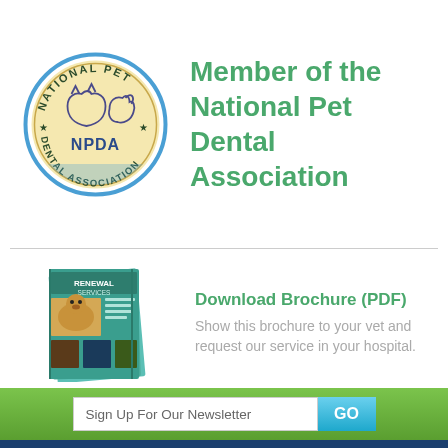[Figure (logo): National Pet Dental Association (NPDA) circular logo with blue border, showing animal silhouettes and stars]
Member of the National Pet Dental Association
[Figure (photo): Brochure for pet dental renewal services featuring a golden retriever and pet images on teal background]
Download Brochure (PDF)
Show this brochure to your vet and request our service in your hospital.
Sign Up For Our Newsletter
Phone: (866) 534-3737 | Fax: (561) 847-2873 | info@petdentalservices.com © 2022 Pet Dental Services. All Rights Reserved.